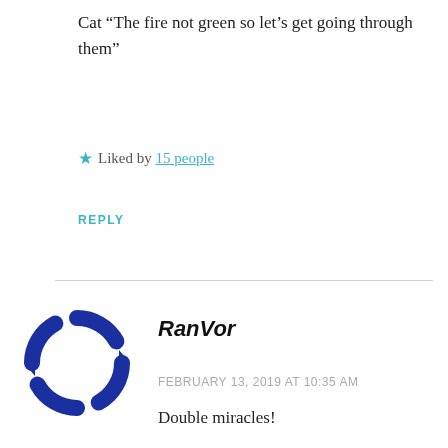Cat “The fire not green so let’s get going through them”
★ Liked by 15 people
REPLY
[Figure (logo): Circular arrow target icon in dark blue, representing user avatar for RanVor]
RanVor
FEBRUARY 13, 2019 AT 10:35 AM
Double miracles!
I’m curious what the priests will tell upon witnessing the Night.
★ Liked by 2 people